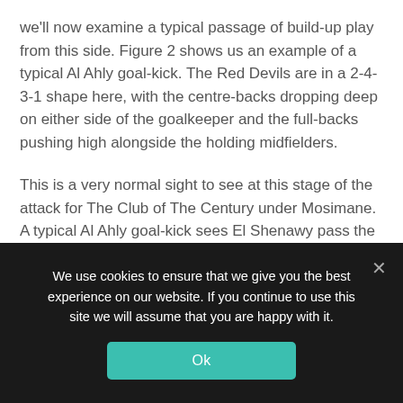we'll now examine a typical passage of build-up play from this side. Figure 2 shows us an example of a typical Al Ahly goal-kick. The Red Devils are in a 2-4-3-1 shape here, with the centre-backs dropping deep on either side of the goalkeeper and the full-backs pushing high alongside the holding midfielders.
This is a very normal sight to see at this stage of the attack for The Club of The Century under Mosimane. A typical Al Ahly goal-kick sees El Shenawy pass the ball to one of the two centre-backs, who will then get their head up and play a
We use cookies to ensure that we give you the best experience on our website. If you continue to use this site we will assume that you are happy with it.